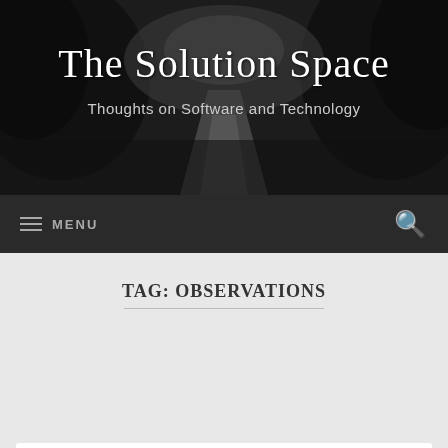[Figure (photo): Dark black-and-white photograph of a winding road or path through trees, used as blog header background]
The Solution Space
Thoughts on Software and Technology
MENU  [search icon]
TAG: OBSERVATIONS
The Extremely Negative Senior Engineer